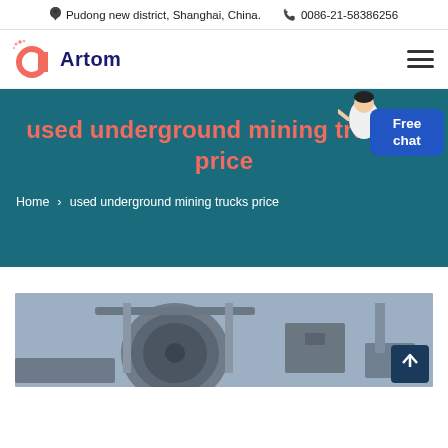Pudong new district, Shanghai, China.  0086-21-58386256
[Figure (logo): Artom company logo with orange-red circular C icon and dark blue 'Artom' text]
used underground mining trucks price
Home > used underground mining trucks price
[Figure (photo): Industrial mining equipment product photo showing metallic machinery components]